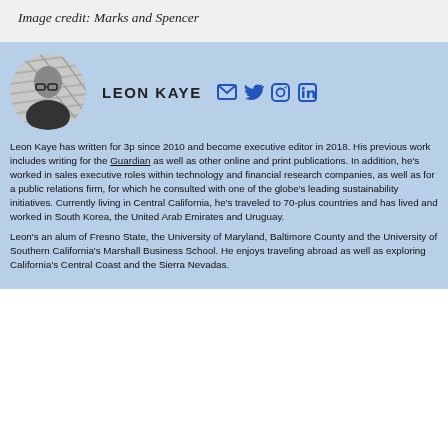Image credit: Marks and Spencer
[Figure (photo): Circular cropped black and white headshot photo of Leon Kaye, a bald man wearing glasses and a dark jacket]
LEON KAYE
Leon Kaye has written for 3p since 2010 and become executive editor in 2018. His previous work includes writing for the Guardian as well as other online and print publications. In addition, he's worked in sales executive roles within technology and financial research companies, as well as for a public relations firm, for which he consulted with one of the globe's leading sustainability initiatives. Currently living in Central California, he's traveled to 70-plus countries and has lived and worked in South Korea, the United Arab Emirates and Uruguay.
Leon's an alum of Fresno State, the University of Maryland, Baltimore County and the University of Southern California's Marshall Business School. He enjoys traveling abroad as well as exploring California's Central Coast and the Sierra Nevadas.